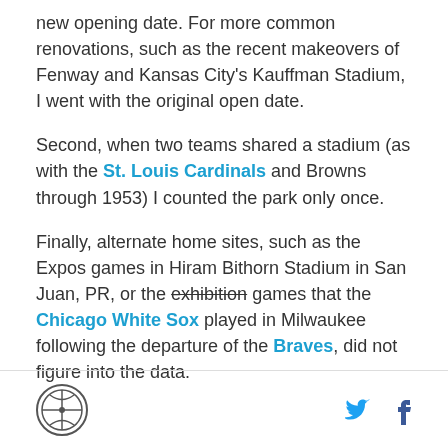new opening date. For more common renovations, such as the recent makeovers of Fenway and Kansas City's Kauffman Stadium, I went with the original open date.
Second, when two teams shared a stadium (as with the St. Louis Cardinals and Browns through 1953) I counted the park only once.
Finally, alternate home sites, such as the Expos games in Hiram Bithorn Stadium in San Juan, PR, or the exhibition games that the Chicago White Sox played in Milwaukee following the departure of the Braves, did not figure into the data.
Footer with logo and social icons